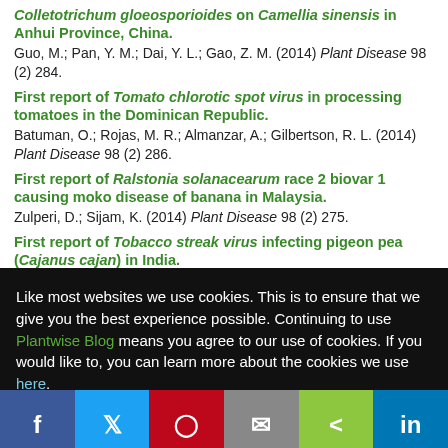Colletotrichum gloeosporioides on Camellia sinensis in Anhui Province, China.
Guo, M.; Pan, Y. M.; Dai, Y. L.; Gao, Z. M. (2014) Plant Disease 98 (2) 284.
First report of Tomato chlorotic spot virus in processing tomatoes in the Dominican Republic.
Batuman, O.; Rojas, M. R.; Almanzar, A.; Gilbertson, R. L. (2014) Plant Disease 98 (2) 286.
First report of Ralstonia solanacearum race 2 biovar 1 causing moko disease of banana in Malaysia.
Zulperi, D.; Sijam, K. (2014) Plant Disease 98 (2) 275.
First report of Tobacco streak virus infecting pigeon pea (Cajanus cajan) in India.
Like most websites we use cookies. This is to ensure that we give you the best experience possible. Continuing to use Plantwise Blog means you agree to our use of cookies. If you would like to, you can learn more about the cookies we use here.